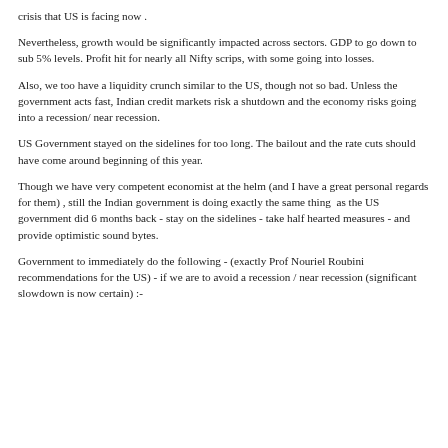crisis that US is facing now .
Nevertheless, growth would be significantly impacted across sectors. GDP to go down to sub 5% levels. Profit hit for nearly all Nifty scrips, with some going into losses.
Also, we too have a liquidity crunch similar to the US, though not so bad. Unless the government acts fast, Indian credit markets risk a shutdown and the economy risks going into a recession/ near recession.
US Government stayed on the sidelines for too long. The bailout and the rate cuts should have come around beginning of this year.
Though we have very competent economist at the helm (and I have a great personal regards for them) , still the Indian government is doing exactly the same thing  as the US government did 6 months back - stay on the sidelines - take half hearted measures - and provide optimistic sound bytes.
Government to immediately do the following - (exactly Prof Nouriel Roubini recommendations for the US) - if we are to avoid a recession / near recession (significant slowdown is now certain) :-